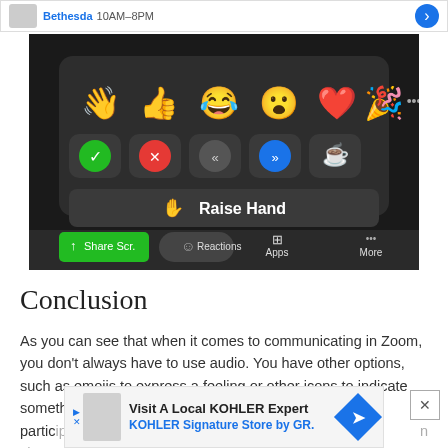[Figure (screenshot): Zoom application screenshot showing the Reactions panel open with emojis (waving hand, thumbs up, laughing face, surprised face, red heart, party popper) and icons (green checkmark, red X, rewind, fast-forward, coffee cup), a 'Raise Hand' button with a hand emoji, and the bottom toolbar showing Share Screen, Reactions, Apps, and More options.]
Conclusion
As you can see that when it comes to communicating in Zoom, you don't always have to use audio. You have other options, such as emojis to express a feeling or other icons to indicate something to the other partic... n choos...
[Figure (screenshot): Advertisement banner: Visit A Local KOHLER Expert - KOHLER Signature Store by GR. with a blue diamond navigation icon.]